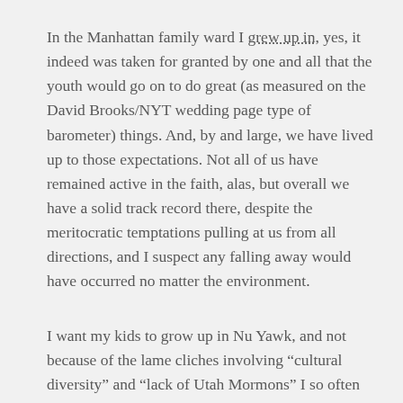In the Manhattan family ward I grew up in, yes, it indeed was taken for granted by one and all that the youth would go on to do great (as measured on the David Brooks/NYT wedding page type of barometer) things. And, by and large, we have lived up to those expectations. Not all of us have remained active in the faith, alas, but overall we have a solid track record there, despite the meritocratic temptations pulling at us from all directions, and I suspect any falling away would have occurred no matter the environment.
I want my kids to grow up in Nu Yawk, and not because of the lame cliches involving “cultural diversity” and “lack of Utah Mormons” I so often heard (and still hear on Times and Seasons) from the BYU grads new to the big city who liked nothing more than to knock their